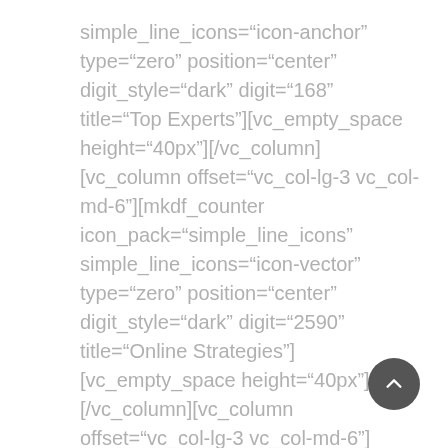simple_line_icons="icon-anchor" type="zero" position="center" digit_style="dark" digit="168" title="Top Experts"][vc_empty_space height="40px"][/vc_column][vc_column offset="vc_col-lg-3 vc_col-md-6"][mkdf_counter icon_pack="simple_line_icons" simple_line_icons="icon-vector" type="zero" position="center" digit_style="dark" digit="2590" title="Online Strategies"][vc_empty_space height="40px"][/vc_column][vc_column offset="vc_col-lg-3 vc_col-md-6"][mkdf_counter icon_pack="simple_line_icons" simple_line_icons="icon-loop" type="zero" position="center" digit_style="dark" digit="347" title="Great Results" font_size="48"][vc_empty_space